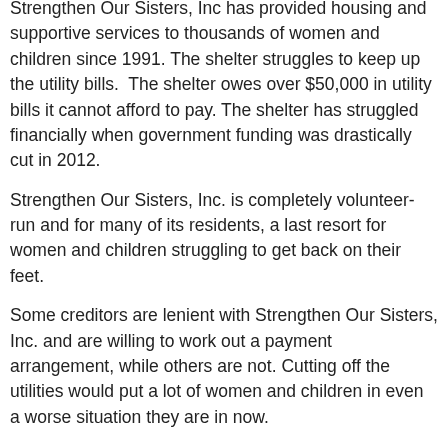Strengthen Our Sisters, Inc has provided housing and supportive services to thousands of women and children since 1991. The shelter struggles to keep up the utility bills. The shelter owes over $50,000 in utility bills it cannot afford to pay. The shelter has struggled financially when government funding was drastically cut in 2012.
Strengthen Our Sisters, Inc. is completely volunteer-run and for many of its residents, a last resort for women and children struggling to get back on their feet.
Some creditors are lenient with Strengthen Our Sisters, Inc. and are willing to work out a payment arrangement, while others are not. Cutting off the utilities would put a lot of women and children in even a worse situation they are in now.
We can use your help by helping us keep the lights on! Donate online.
To mail in your donation, click here.